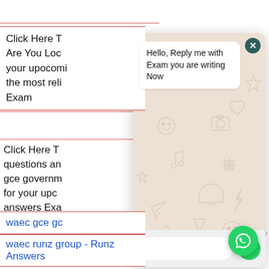Click Here T... Are You Loo... your upcomin... the most reli... Exam
waec gce gc...
Click Here T... questions an... gce governm... for your upc... answers Exa... trusted expo... answers Exam
[Figure (screenshot): WhatsApp chat popup overlay with message 'Hello, Reply me with Exam you are writing Now', text input field, and send button]
waec runz group - Runz Answers